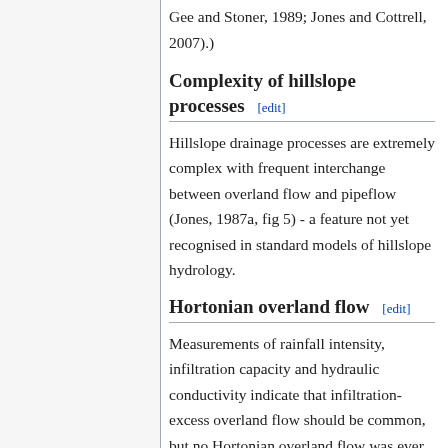Gee and Stoner, 1989; Jones and Cottrell, 2007).)
Complexity of hillslope processes [edit]
Hillslope drainage processes are extremely complex with frequent interchange between overland flow and pipeflow (Jones, 1987a, fig 5) - a feature not yet recognised in standard models of hillslope hydrology.
Hortonian overland flow [edit]
Measurements of rainfall intensity, infiltration capacity and hydraulic conductivity indicate that infiltration-excess overland flow should be common, but no Hortonian overland flow was ever seen: (a) the majority of storms had mean rainfall intensities that exceed